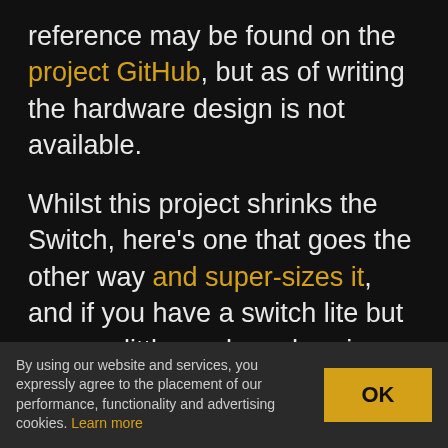reference may be found on the project GitHub, but as of writing the hardware design is not available.
Whilst this project shrinks the Switch, here’s one that goes the other way and super-sizes it, and if you have a switch lite but crave a little modern charging magic, then look no further than this Qi wireless charging hack.
CONTINUE READING →
Posted in Microcontrollers, Nintendo Hacks
By using our website and services, you expressly agree to the placement of our performance, functionality and advertising cookies. Learn more